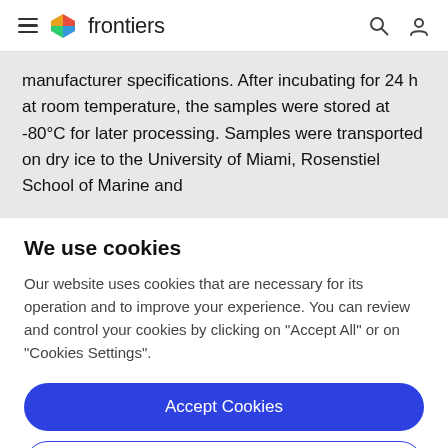frontiers
manufacturer specifications. After incubating for 24 h at room temperature, the samples were stored at -80°C for later processing. Samples were transported on dry ice to the University of Miami, Rosenstiel School of Marine and
We use cookies
Our website uses cookies that are necessary for its operation and to improve your experience. You can review and control your cookies by clicking on "Accept All" or on "Cookies Settings".
Accept Cookies
Cookies Settings